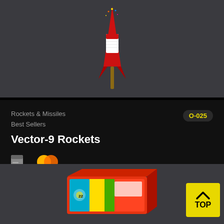[Figure (photo): Product image of Vector-9 Rockets firework on dark gray background]
Rockets & Missiles
Best Sellers
O-025
Vector-9 Rockets
[Figure (logo): Two small icons: a card/payment icon and a Mastercard logo (two overlapping yellow/orange circles)]
$59.99
♡ Add to Favorites
[Figure (photo): Colorful fireworks box product on dark gray background, partially visible]
[Figure (other): Yellow TOP button with upward arrow chevron]